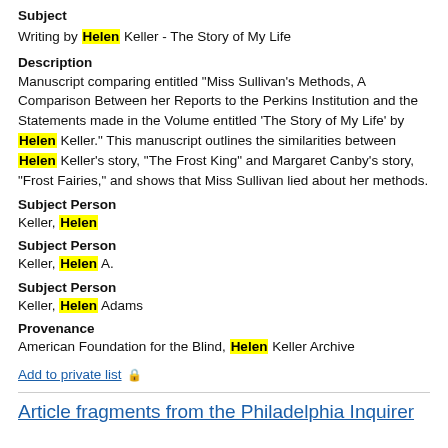Subject
Writing by Helen Keller - The Story of My Life
Description
Manuscript comparing entitled "Miss Sullivan's Methods, A Comparison Between her Reports to the Perkins Institution and the Statements made in the Volume entitled 'The Story of My Life' by Helen Keller." This manuscript outlines the similarities between Helen Keller's story, "The Frost King" and Margaret Canby's story, "Frost Fairies," and shows that Miss Sullivan lied about her methods.
Subject Person
Keller, Helen
Subject Person
Keller, Helen A.
Subject Person
Keller, Helen Adams
Provenance
American Foundation for the Blind, Helen Keller Archive
Add to private list 🔒
Article fragments from the Philadelphia Inquirer